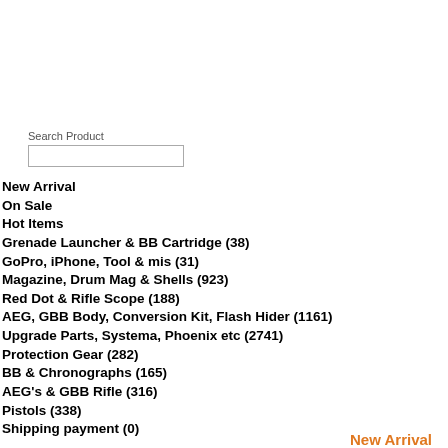Search Product
New Arrival
On Sale
Hot Items
Grenade Launcher & BB Cartridge (38)
GoPro, iPhone, Tool & mis (31)
Magazine, Drum Mag & Shells (923)
Red Dot & Rifle Scope (188)
AEG, GBB Body, Conversion Kit, Flash Hider (1161)
Upgrade Parts, Systema, Phoenix etc (2741)
Protection Gear (282)
BB & Chronographs (165)
AEG's & GBB Rifle (316)
Pistols (338)
Shipping payment (0)
New Arrival